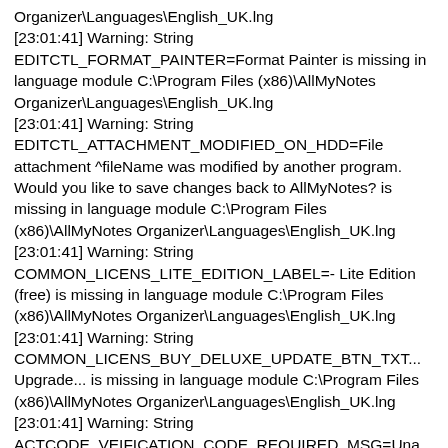Organizer\Languages\English_UK.lng
[23:01:41] Warning: String EDITCTL_FORMAT_PAINTER=Format Painter is missing in language module C:\Program Files (x86)\AllMyNotes Organizer\Languages\English_UK.lng
[23:01:41] Warning: String EDITCTL_ATTACHMENT_MODIFIED_ON_HDD=File attachment ^fileName was modified by another program. Would you like to save changes back to AllMyNotes? is missing in language module C:\Program Files (x86)\AllMyNotes Organizer\Languages\English_UK.lng
[23:01:41] Warning: String COMMON_LICENS_LITE_EDITION_LABEL=- Lite Edition (free) is missing in language module C:\Program Files (x86)\AllMyNotes Organizer\Languages\English_UK.lng
[23:01:41] Warning: String COMMON_LICENS_BUY_DELUXE_UPDATE_BTN_TXT... Upgrade... is missing in language module C:\Program Files (x86)\AllMyNotes Organizer\Languages\English_UK.lng
[23:01:41] Warning: String ACTCODE_VEIFICATION_CODE_REQUIRED_MSG=Una...